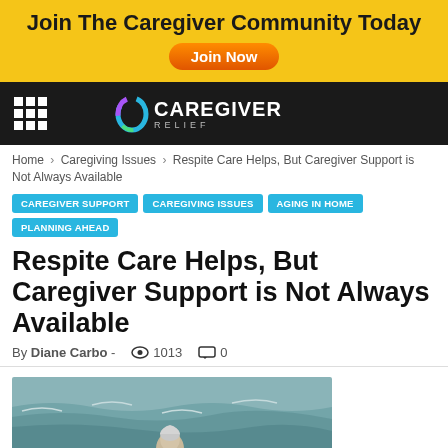Join The Caregiver Community Today
Join Now
Caregiver Relief
Home › Caregiving Issues › Respite Care Helps, But Caregiver Support is Not Always Available
CAREGIVER SUPPORT
CAREGIVING ISSUES
AGING IN HOME
PLANNING AHEAD
Respite Care Helps, But Caregiver Support is Not Always Available
By Diane Carbo - 1013 0
[Figure (photo): Person seen from behind, in water, with waves around them — gray/white hair visible above the waterline]